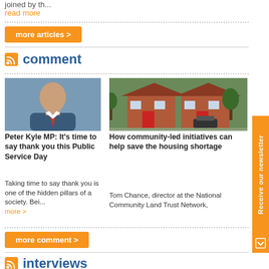joined by th...
read more
more articles >
comment
[Figure (photo): Headshot of Peter Kyle MP in a suit, smiling, blue background]
Peter Kyle MP: It's time to say thank you this Public Service Day
Taking time to say thank you is one of the hidden pillars of a society. Bei... more >
[Figure (photo): Photograph of brick terraced houses with red doors and cars parked outside]
How community-led initiatives can help save the housing shortage
Tom Chance, director at the National Community Land Trust Network,
more comment >
interviews
Receive our newsletter